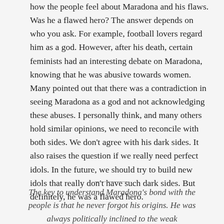how the people feel about Maradona and his flaws. Was he a flawed hero? The answer depends on who you ask. For example, football lovers regard him as a god. However, after his death, certain feminists had an interesting debate on Maradona, knowing that he was abusive towards women. Many pointed out that there was a contradiction in seeing Maradona as a god and not acknowledging these abuses. I personally think, and many others hold similar opinions, we need to reconcile with both sides. We don't agree with his dark sides. It also raises the question if we really need perfect idols. In the future, we should try to build new idols that really don't have such dark sides. But definitely, he was a flawed hero.
The key to understand Maradona's bond with the people is that he never forgot his origins. He was always politically inclined to the weak